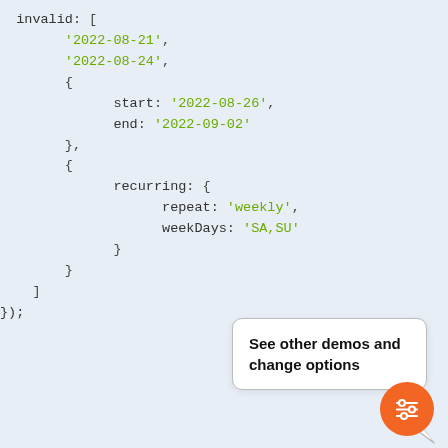invalid: [
    '2022-08-21',
    '2022-08-24',
    {
        start: '2022-08-26',
        end: '2022-09-02'
    },
    {
        recurring: {
            repeat: 'weekly',
            weekDays: 'SA,SU'
        }
    }
]);
See other demos and change options
[Figure (other): Orange circular button with filter/settings icon (sliders icon)]